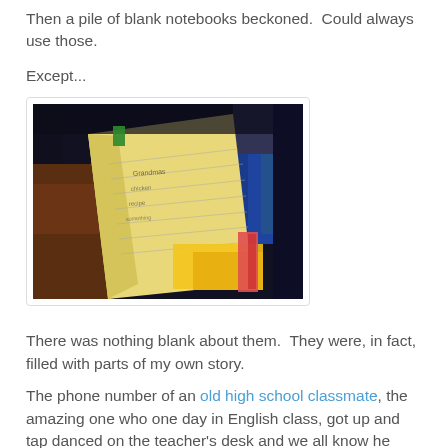Then a pile of blank notebooks beckoned.  Could always use those.
Except...
[Figure (photo): Dark photo of a pile of notebooks and binders on a shelf, with a yellow legal pad open on top showing handwriting.]
There was nothing blank about them.  They were, in fact, filled with parts of my own story.
The phone number of an old high school classmate, the amazing one who one day in English class, got up and tap danced on the teacher's desk and we all know he was...